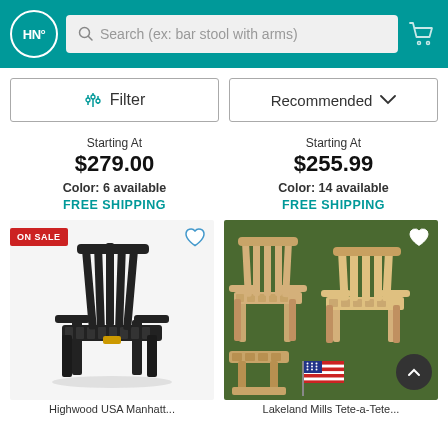HN° | Search (ex: bar stool with arms)
Filter | Recommended
Starting At
$279.00
Color: 6 available
FREE SHIPPING
Starting At
$255.99
Color: 14 available
FREE SHIPPING
[Figure (photo): Black Highwood USA Manhattan Adirondack chair on white background, ON SALE tag visible]
[Figure (photo): Natural wood Lakeland Mills Tete-a-Tete outdoor chairs on patio with American flag and garden backdrop]
Highwood USA Manhatt...
Lakeland Mills Tete-a-Tete...